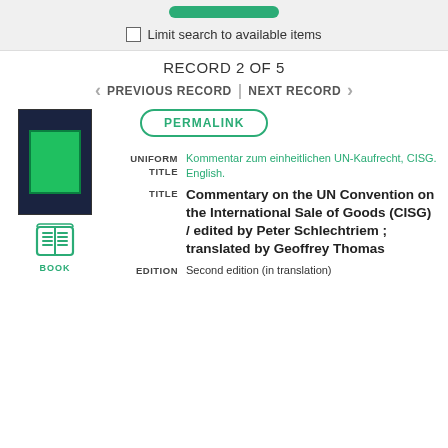Limit search to available items
RECORD 2 OF 5
PREVIOUS RECORD | NEXT RECORD
[Figure (photo): Book cover with dark navy background and green rectangle in center]
[Figure (illustration): Book icon in teal/green with label BOOK]
PERMALINK
UNIFORM TITLE
Kommentar zum einheitlichen UN-Kaufrecht, CISG. English.
TITLE
Commentary on the UN Convention on the International Sale of Goods (CISG) / edited by Peter Schlechtriem ; translated by Geoffrey Thomas
EDITION
Second edition (in translation)